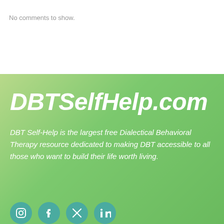No comments to show.
DBTSelfHelp.com
DBT Self-Help is the largest free Dialectical Behavioral Therapy resource dedicated to making DBT accessible to all those who want to build their life worth living.
[Figure (other): Social media icons (Instagram, Facebook, Twitter/X, LinkedIn) as circular teal buttons at the bottom of the green section]